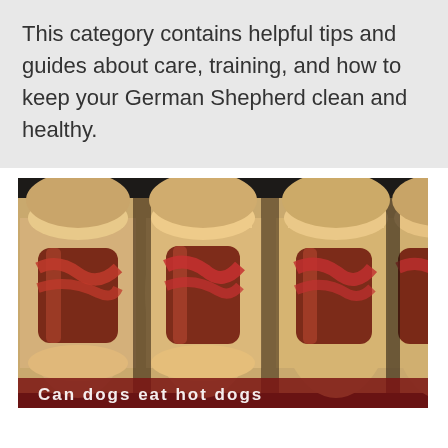This category contains helpful tips and guides about care, training, and how to keep your German Shepherd clean and healthy.
[Figure (photo): Close-up photo of several hot dogs in buns with ketchup/sauce on top, arranged side by side, with a dark red overlay bar at the bottom containing partial white text]